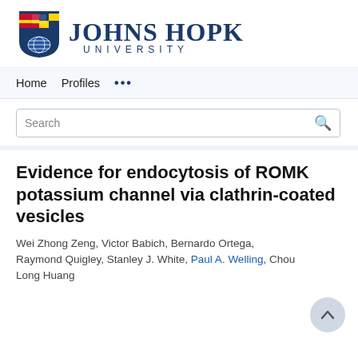[Figure (logo): Johns Hopkins University logo with shield and text]
Home   Profiles   ...
Search
Evidence for endocytosis of ROMK potassium channel via clathrin-coated vesicles
Wei Zhong Zeng, Victor Babich, Bernardo Ortega, Raymond Quigley, Stanley J. White, Paul A. Welling, Chou Long Huang